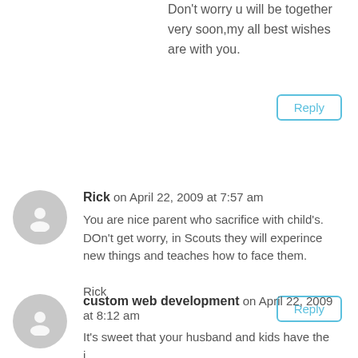Don't worry u will be together very soon,my all best wishes are with you.
Reply
Rick on April 22, 2009 at 7:57 am
You are nice parent who sacrifice with child's. DOn't get worry, in Scouts they will experince new things and teaches how to face them.

Rick
Reply
custom web development on April 22, 2009 at 8:12 am
It's sweet that your husband and kids have the i...